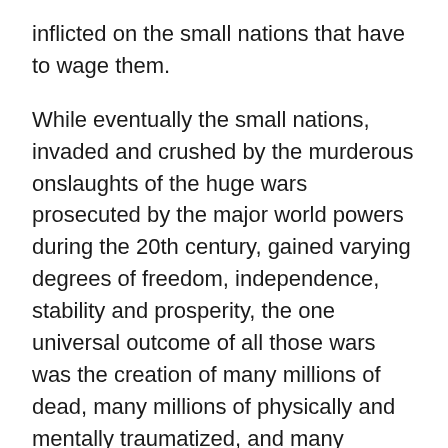inflicted on the small nations that have to wage them.
While eventually the small nations, invaded and crushed by the murderous onslaughts of the huge wars prosecuted by the major world powers during the 20th century, gained varying degrees of freedom, independence, stability and prosperity, the one universal outcome of all those wars was the creation of many millions of dead, many millions of physically and mentally traumatized, and many millions of surviving widows, orphans, widowers, and bereft lovers.
That truth has been captured in many mournful songs of lament, and one that especially affects me is “High Germany” as sung by my younger daughter. Of course, it is the personal effect of hearing her lovely voice, besides just the sentiment of that Celtic ballad, that makes for such an emotional effect on me. Over a century ago, young